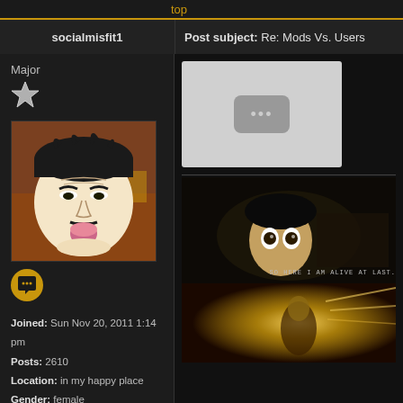top
socialmisfit1
Post subject: Re: Mods Vs. Users
Major
[Figure (illustration): Cartoon face avatar with dark hair and exaggerated features, overlaid on a construction site background]
[Figure (illustration): Yellow messenger/lock icon]
Joined: Sun Nov 20, 2011 1:14 pm
Posts: 2610
Location: in my happy place
Gender: female
[Figure (photo): YouTube video placeholder with grey background and three dots button]
[Figure (photo): Dark movie still of a person with wide eyes, subtitle: SO HERE I AM ALIVE AT LAST.]
[Figure (photo): Golden/orange toned cinematic image with bright light effects]